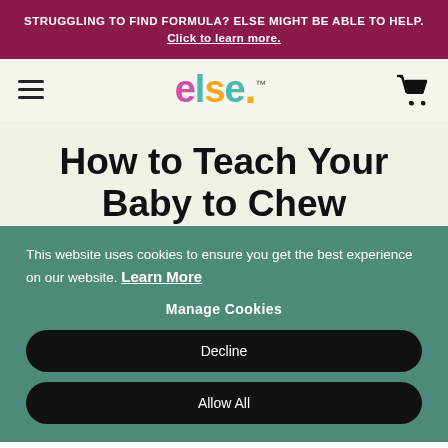STRUGGLING TO FIND FORMULA? ELSE MIGHT BE ABLE TO HELP. Click to learn more.
[Figure (logo): Else brand logo with colorful letters e-l-s-e and a dot, with trademark symbol]
How to Teach Your Baby to Chew
Aug 03, 2021
This website uses cookies to ensure you get the best experience on our website. Learn More
Manage Cookies
Decline
Allow All